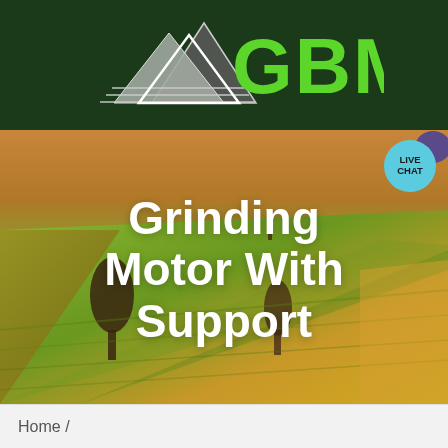[Figure (logo): GBM logo with mountain peaks graphic and green GBM text on dark green background header bar]
[Figure (screenshot): Navigation bar in bright green with hamburger menu icon on the right and a live chat bubble (teal circle with LIVE CHAT text) in the top right corner with a purple chat balloon icon]
[Figure (photo): Aerial photograph of agricultural fields with rolling terrain showing green and golden crop fields with trees and a person visible in background]
Grinding Motor With Support
Home /